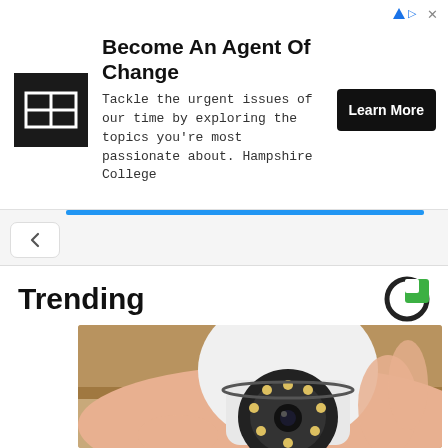[Figure (screenshot): Advertisement banner: Hampshire College 'Become An Agent Of Change' ad with logo, text, and 'Learn More' button]
[Figure (photo): A hand holding a white wifi security camera shaped like a light bulb with a circular camera lens and LED lights on the front]
Trending